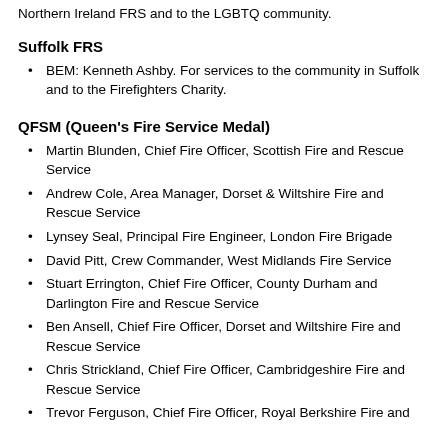Northern Ireland FRS and to the LGBTQ community.
Suffolk FRS
BEM: Kenneth Ashby. For services to the community in Suffolk and to the Firefighters Charity.
QFSM (Queen's Fire Service Medal)
Martin Blunden, Chief Fire Officer, Scottish Fire and Rescue Service
Andrew Cole, Area Manager, Dorset & Wiltshire Fire and Rescue Service
Lynsey Seal, Principal Fire Engineer, London Fire Brigade
David Pitt, Crew Commander, West Midlands Fire Service
Stuart Errington, Chief Fire Officer, County Durham and Darlington Fire and Rescue Service
Ben Ansell, Chief Fire Officer, Dorset and Wiltshire Fire and Rescue Service
Chris Strickland, Chief Fire Officer, Cambridgeshire Fire and Rescue Service
Trevor Ferguson, Chief Fire Officer, Royal Berkshire Fire and